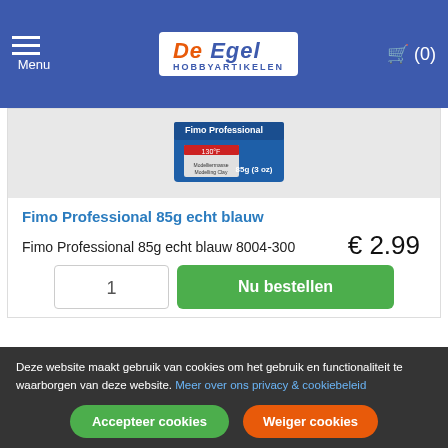Menu | De Egel Hobbyartikelen | (0)
[Figure (photo): Product image of Fimo Professional 85g modeling clay in blue packaging, showing 85g (3oz) label]
Fimo Professional 85g echt blauw
Fimo Professional 85g echt blauw 8004-300
€ 2.99
1  Nu bestellen
Deze website maakt gebruik van cookies om het gebruik en functionaliteit te waarborgen van deze website. Meer over ons privacy & cookiebeleid
Accepteer cookies  Weiger cookies